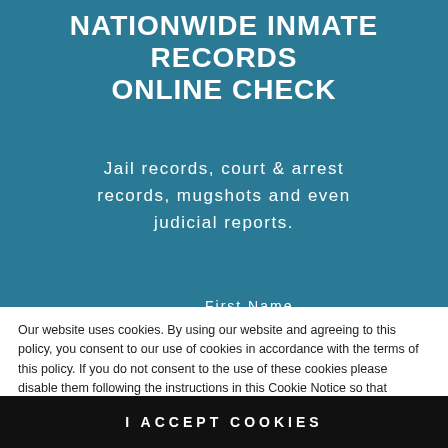NATIONWIDE INMATE RECORDS ONLINE CHECK
Jail records, court & arrest records, mugshots and even judicial reports.
First Name
Last Name
Our website uses cookies. By using our website and agreeing to this policy, you consent to our use of cookies in accordance with the terms of this policy. If you do not consent to the use of these cookies please disable them following the instructions in this Cookie Notice so that cookies from this website cannot be placed on your device.
I ACCEPT COOKIES